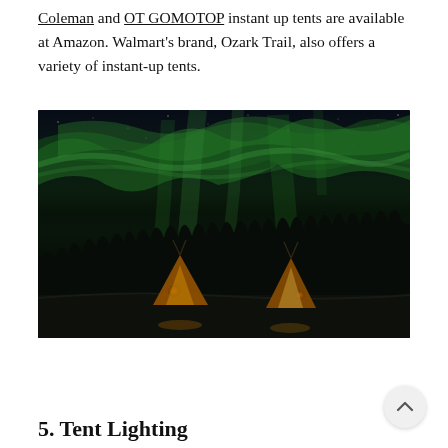Coleman and OT GOMOTOP instant up tents are available at Amazon. Walmart's brand, Ozark Trail, also offers a variety of instant-up tents.
[Figure (photo): Night photograph of two illuminated teepee-style tents glowing orange against a dark snowy forest landscape with vivid green aurora borealis (northern lights) filling the sky above.]
5. Tent Lighting